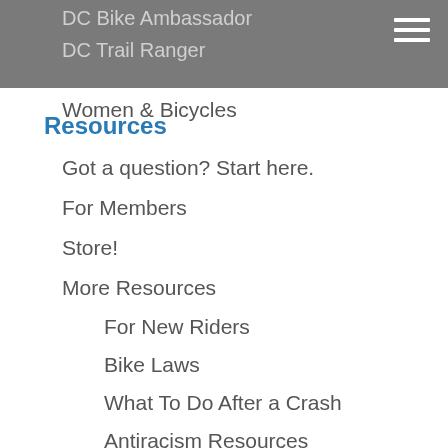DC Bike Ambassador
DC Trail Ranger
Women & Bicycles
Resources
Got a question? Start here.
For Members
Store!
More Resources
For New Riders
Bike Laws
What To Do After a Crash
Antiracism Resources
Forum
Family Biking